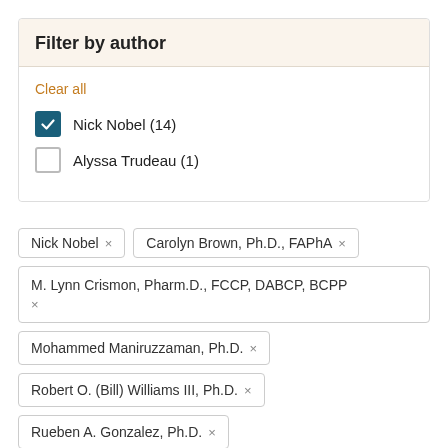Filter by author
Clear all
Nick Nobel (14) [checked]
Alyssa Trudeau (1) [unchecked]
Nick Nobel ×
Carolyn Brown, Ph.D., FAPhA ×
M. Lynn Crismon, Pharm.D., FCCP, DABCP, BCPP ×
Mohammed Maniruzzaman, Ph.D. ×
Robert O. (Bill) Williams III, Ph.D. ×
Rueben A. Gonzalez, Ph.D. ×